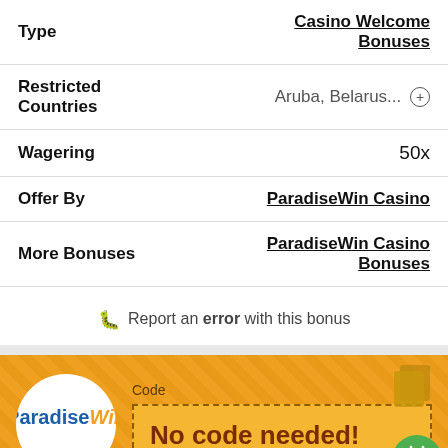| Field | Value |
| --- | --- |
| Type | Casino Welcome Bonuses |
| Restricted Countries | Aruba, Belarus... |
| Wagering | 50x |
| Offer By | ParadiseWin Casino |
| More Bonuses | ParadiseWin Casino Bonuses |
Report an error with this bonus
[Figure (logo): ParadiseWin Casino logo in white circle on orange background with dashed code box showing 'No code needed!' and copy/calendar icons]
Claim this bonus at ParadiseWin